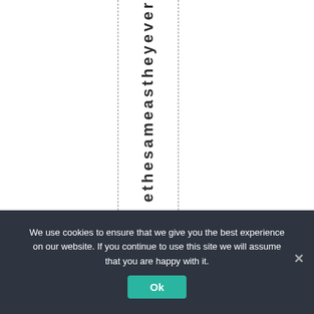[Figure (other): White page area with two vertical dashed lines and vertically-oriented bold text reading 'ethesameastheyever' between the dashed lines.]
We use cookies to ensure that we give you the best experience on our website. If you continue to use this site we will assume that you are happy with it.